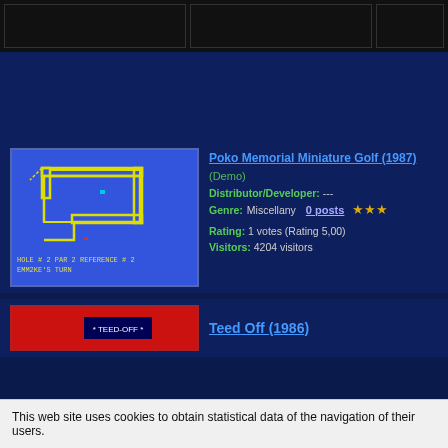[Figure (screenshot): Screenshot of Poko Memorial Miniature Golf (1987) showing a blue screen with a yellow outlined golf hole shape, HOLE #2, PAR 2, REFERENCE #2, EMM2KE'S TURN]
Poko Memorial Miniature Golf (1987)
(Demo)
Distributor/Developer: ---
Genre: Miscellany   0 posts   ★★★
Rating: 1 votes (Rating 5,00)
Visitors: 4204 visitors
[Figure (screenshot): Partial screenshot of Teed Off (1986) showing red background with TEED-OFF label]
Teed Off (1986)
This web site uses cookies to obtain statistical data of the navigation of their users.